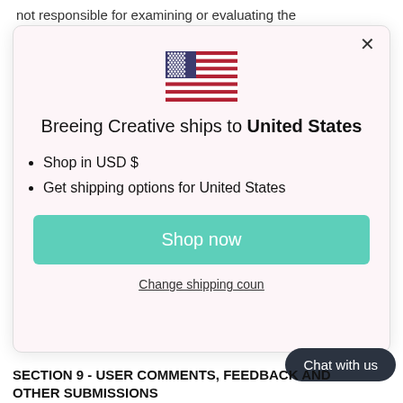not responsible for examining or evaluating the
[Figure (screenshot): Modal dialog showing US flag and shipping info for Breeing Creative. Contains title 'Breeing Creative ships to United States', bullet points 'Shop in USD $' and 'Get shipping options for United States', a teal 'Shop now' button, and a 'Change shipping country' link.]
Shop in USD $
Get shipping options for United States
Change shipping country
Chat with us
SECTION 9 - USER COMMENTS, FEEDBACK AND OTHER SUBMISSIONS